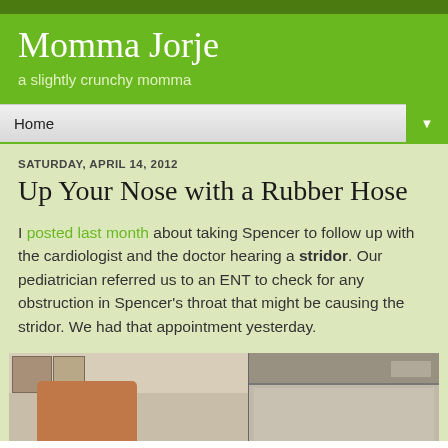Momma Jorje
a slightly crunchy momma
Home
SATURDAY, APRIL 14, 2012
Up Your Nose with a Rubber Hose
I posted last month about taking Spencer to follow up with the cardiologist and the doctor hearing a stridor. Our pediatrician referred us to an ENT to check for any obstruction in Spencer's throat that might be causing the stridor. We had that appointment yesterday.
[Figure (photo): Photo of a doctor's office examination room showing an orange/brown exam chair and medical shelving]